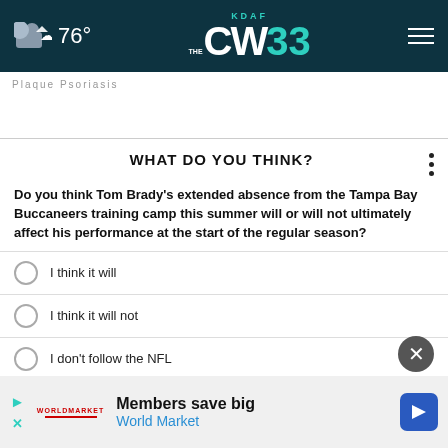76° KDAF CW 33
Plaque Psoriasis
WHAT DO YOU THINK?
Do you think Tom Brady's extended absence from the Tampa Bay Buccaneers training camp this summer will or will not ultimately affect his performance at the start of the regular season?
I think it will
I think it will not
I don't follow the NFL
Other / No opinion
Members save big World Market